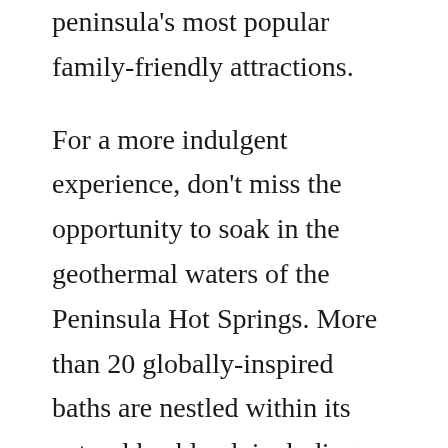peninsula's most popular family-friendly attractions.
For a more indulgent experience, don't miss the opportunity to soak in the geothermal waters of the Peninsula Hot Springs. More than 20 globally-inspired baths are nestled within its natural bushland, including a Turkish hammam and Japanese-style onsen.
Hikers can hit the trails of the Mornington Peninsula National Park, which protects native bushland and coastal dunes, as well as soaring basalt cliffs and wind-swept surf beaches. The